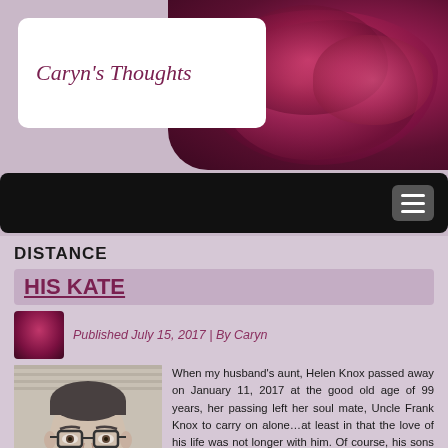Caryn's Thoughts
DISTANCE
HIS KATE
Published July 15, 2017 | By Caryn
[Figure (photo): Black and white photograph of an older man wearing glasses and smiling, in a suit]
When my husband's aunt, Helen Knox passed away on January 11, 2017 at the good old age of 99 years, her passing left her soul mate, Uncle Frank Knox to carry on alone…at least in that the love of his life was not longer with him. Of course, his sons are still here, and his grandchildren, one of whom I have had the great privilege of getting to know over Facebook since her grandmother's passing. Yesterday morning, it was Frank's granddaughter, Kate West who passed along the news that Uncle Frank has not rejoined his wife if